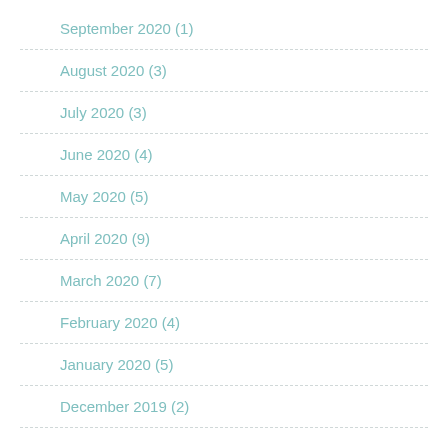September 2020 (1)
August 2020 (3)
July 2020 (3)
June 2020 (4)
May 2020 (5)
April 2020 (9)
March 2020 (7)
February 2020 (4)
January 2020 (5)
December 2019 (2)